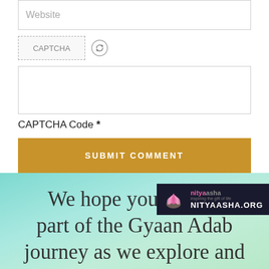Website
[Figure (screenshot): CAPTCHA image placeholder with refresh icon]
CAPTCHA Code *
SUBMIT COMMENT
We hope you will be part of the Gyaan Adab journey as we explore and
[Figure (logo): NityaAsha.org logo with lotus flower on dark background]